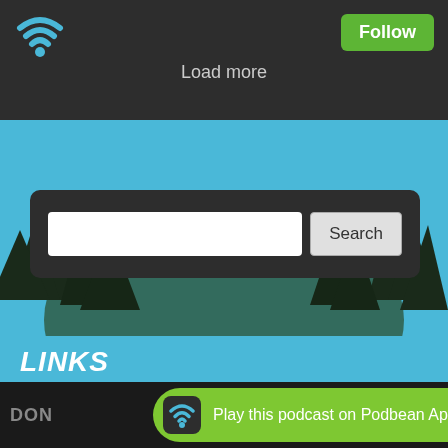[Figure (screenshot): Podbean podcast app mobile UI screenshot showing a dark top navigation bar with wifi/podcast icon and green Follow button, a Load more link, a sky and trees illustration background, a search panel with input and Search button, a blue LINKS section header, list items WATCH THE FILM! and FREE HOMESCHOOL SURVIVAL KIT, and a green Podbean Play banner at the bottom]
Load more
Search
LINKS
WATCH THE FILM!
FREE HOMESCHOOL SURVIVAL KIT
Play this podcast on Podbean App